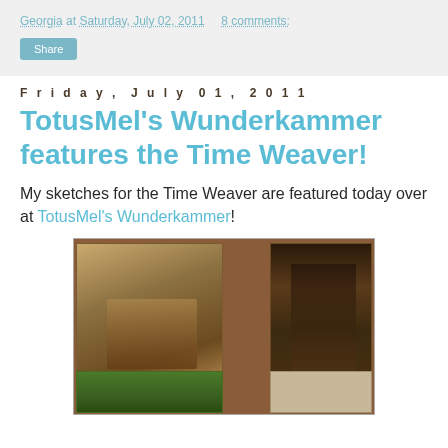Georgia at Saturday, July 02, 2011   8 comments:
Share
Friday, July 01, 2011
TotusMel's Wunderkammer features the Time Weaver!
My sketches for the Time Weaver are featured today over at TotusMel's Wunderkammer!
[Figure (photo): Composite image showing artwork of the Time Weaver character — left panel shows a sepia-toned illustration of a figure on the ground, right panel shows a stylized decorative illustration of the same character standing, bottom panels show additional artwork details.]